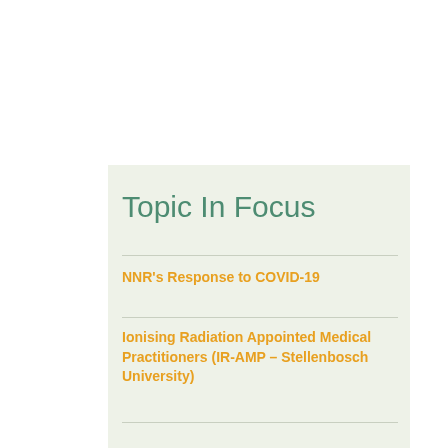Topic In Focus
NNR's Response to COVID-19
Ionising Radiation Appointed Medical Practitioners (IR-AMP – Stellenbosch University)